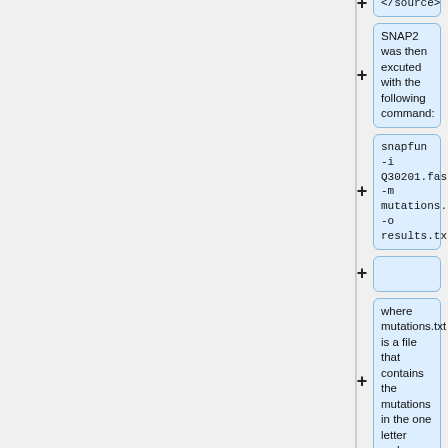</source>
SNAP2 was then excuted with the following command:
snapfun -i Q30201.fasta -m mutations.txt -o results.txt
where mutations.txt is a file that contains the mutations in the one letter code.
The results are the following:
nsSNP  Prediction  Reliability  Expected  Accuracy
V53M   Neutral